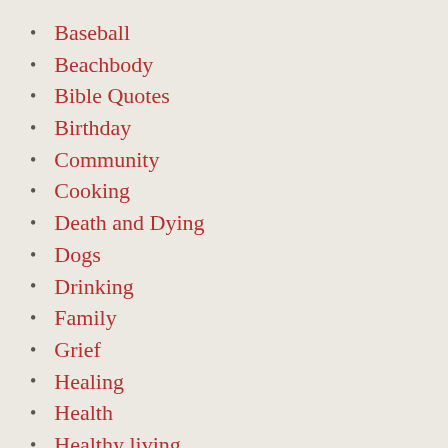Baseball
Beachbody
Bible Quotes
Birthday
Community
Cooking
Death and Dying
Dogs
Drinking
Family
Grief
Healing
Health
Healthy living
Heaven
Holidays